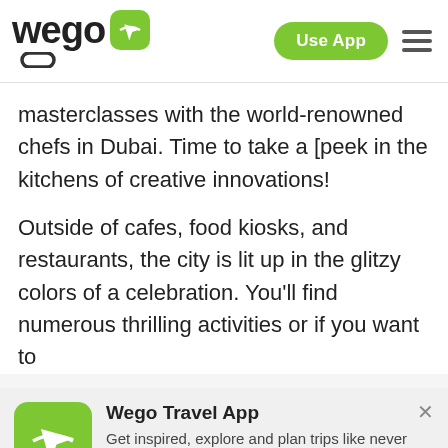wego | Use App
masterclasses with the world-renowned chefs in Dubai. Time to take a [peek in the kitchens of creative innovations!
Outside of cafes, food kiosks, and restaurants, the city is lit up in the glitzy colors of a celebration. You'll find numerous thrilling activities or if you want to
[Figure (logo): Wego Travel App promo banner with green airplane icon, title 'Wego Travel App', description 'Get inspired, explore and plan trips like never before!', 4.5 star rating with 250k reviews, and close button]
DOWNLOAD APP NOW